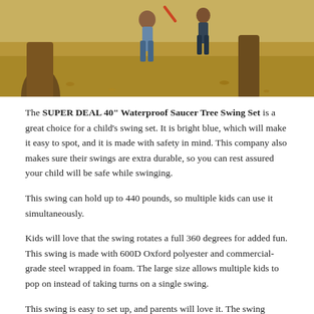[Figure (photo): Outdoor scene with children near trees on a field covered with fallen leaves]
The SUPER DEAL 40" Waterproof Saucer Tree Swing Set is a great choice for a child's swing set. It is bright blue, which will make it easy to spot, and it is made with safety in mind. This company also makes sure their swings are extra durable, so you can rest assured your child will be safe while swinging.
This swing can hold up to 440 pounds, so multiple kids can use it simultaneously.
Kids will love that the swing rotates a full 360 degrees for added fun. This swing is made with 600D Oxford polyester and commercial-grade steel wrapped in foam. The large size allows multiple kids to pop on instead of taking turns on a single swing.
This swing is easy to set up, and parents will love it. The swing comes fully assembled, so there is no extra work. They also let you adjust the rope to the appropriate tree and...